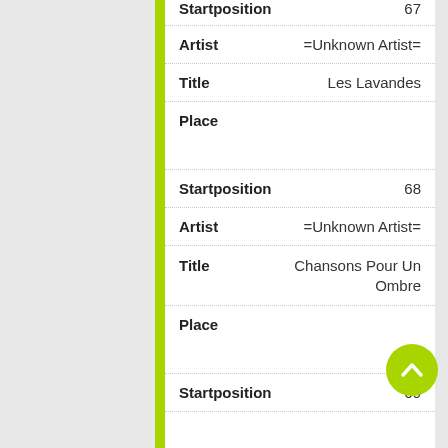Startposition  67
Artist  =Unknown Artist=
Title  Les Lavandes
Place
Startposition  68
Artist  =Unknown Artist=
Title  Chansons Pour Un Ombre
Place
Startposition  69